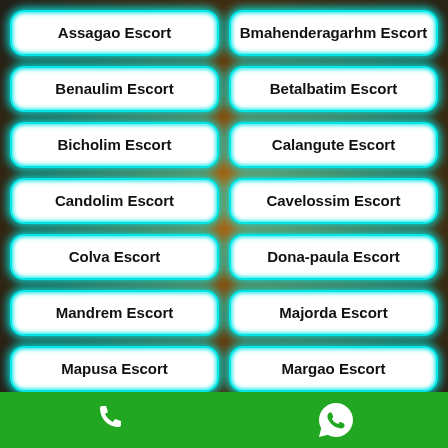Assagao Escort
Bmahenderagarhm Escort
Benaulim Escort
Betalbatim Escort
Bicholim Escort
Calangute Escort
Candolim Escort
Cavelossim Escort
Colva Escort
Dona-paula Escort
Mandrem Escort
Majorda Escort
Mapusa Escort
Margao Escort